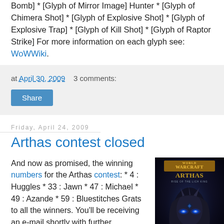Bomb] * [Glyph of Mirror Image] Hunter * [Glyph of Chimera Shot] * [Glyph of Explosive Shot] * [Glyph of Explosive Trap] * [Glyph of Kill Shot] * [Glyph of Raptor Strike] For more information on each glyph see: WoWWiki.
at April 30, 2009    3 comments:
Share
Friday, April 24, 2009
Arthas contest closed
And now as promised, the winning numbers for the Arthas contest: * 4 : Huggles * 33 : Jawn * 47 : Michael * 49 : Azande * 59 : Bluestitches Grats to all the winners. You'll be receiving an e-mail shortly with further information. I put together a quick 10 man group of Rampage officers + raiders as witnesses for the official roll. Number 33 actually
[Figure (illustration): World of Warcraft Arthas Rise of the Lich King book cover showing a menacing armored figure with glowing blue eyes]